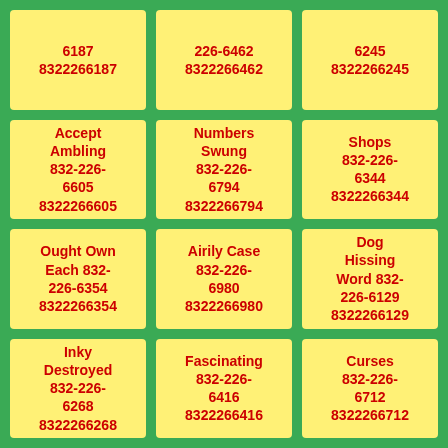6187
8322266187
226-6462
8322266462
6245
8322266245
Accept Ambling 832-226-6605
8322266605
Numbers Swung 832-226-6794
8322266794
Shops 832-226-6344
8322266344
Ought Own Each 832-226-6354
8322266354
Airily Case 832-226-6980
8322266980
Dog Hissing Word 832-226-6129
8322266129
Inky Destroyed 832-226-6268
8322266268
Fascinating 832-226-6416
8322266416
Curses 832-226-6712
8322266712